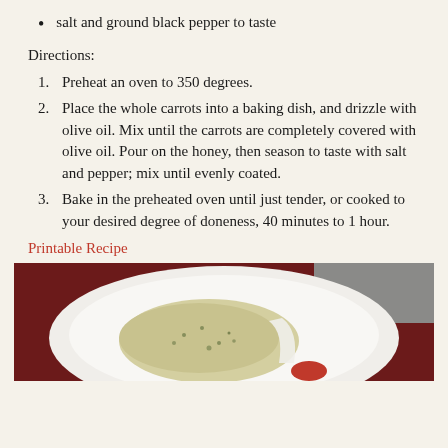salt and ground black pepper to taste
Directions:
1. Preheat an oven to 350 degrees.
2. Place the whole carrots into a baking dish, and drizzle with olive oil. Mix until the carrots are completely covered with olive oil. Pour on the honey, then season to taste with salt and pepper; mix until evenly coated.
3. Bake in the preheated oven until just tender, or cooked to your desired degree of doneness, 40 minutes to 1 hour.
Printable Recipe
[Figure (photo): A white plate containing herb rice or orzo dish on a dark red tablecloth background]